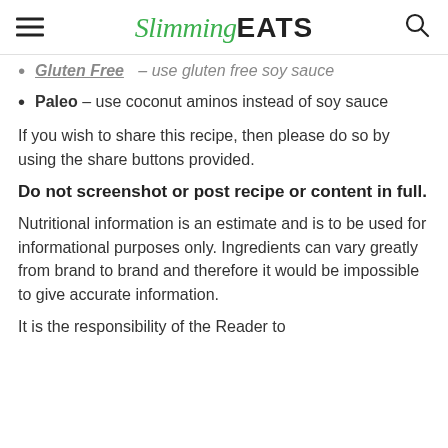Slimming EATS
Gluten Free – use gluten free soy sauce (partially visible)
Paleo – use coconut aminos instead of soy sauce
If you wish to share this recipe, then please do so by using the share buttons provided.
Do not screenshot or post recipe or content in full.
Nutritional information is an estimate and is to be used for informational purposes only. Ingredients can vary greatly from brand to brand and therefore it would be impossible to give accurate information.
It is the responsibility of the Reader to